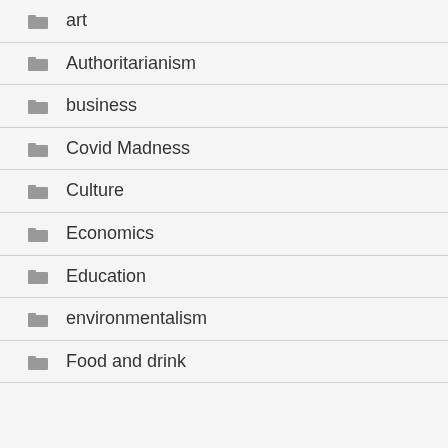art
Authoritarianism
business
Covid Madness
Culture
Economics
Education
environmentalism
Food and drink